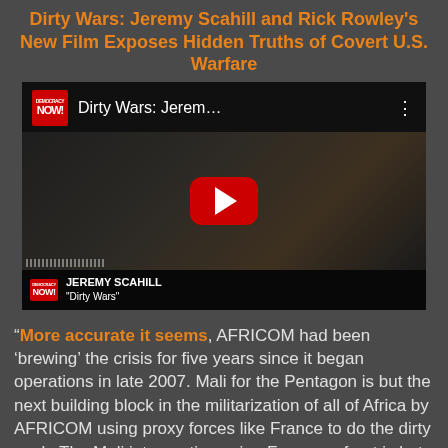Dirty Wars: Jeremy Scahill and Rick Rowley's New Film Exposes Hidden Truths of Covert U.S. Warfare
[Figure (screenshot): YouTube video thumbnail showing Jeremy Scahill interview on Democracy Now!, with red play button in center, Democracy Now logo and 'Dirty Wars: Jerem...' title in header, and 'JEREMY SCAHILL - Dirty Wars' chyron at bottom.]
“More accurate it seems, AFRICOM had been ‘brewing’ the crisis for five years since it began operations in late 2007. Mali for the Pentagon is but the next building block in the militarization of all of Africa by AFRICOM using proxy forces like France to do the dirty work. The Mali intervention using France upfront is but one building block in a project for the total militarization of Africa... The strategic target is China and the rapidly growing Chinese business presence across Africa...